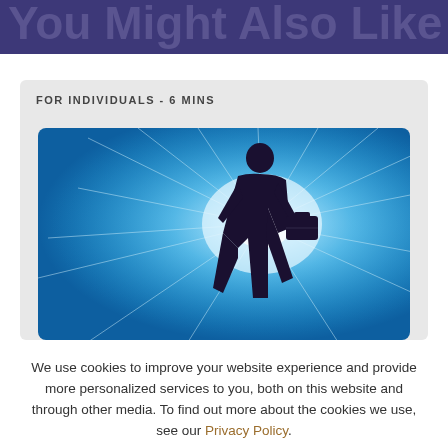You Might Also Like
FOR INDIVIDUALS - 6 MINS
[Figure (photo): Silhouette of a person carrying a briefcase walking toward a bright blue radiant light background]
We use cookies to improve your website experience and provide more personalized services to you, both on this website and through other media. To find out more about the cookies we use, see our Privacy Policy.
ACCEPT